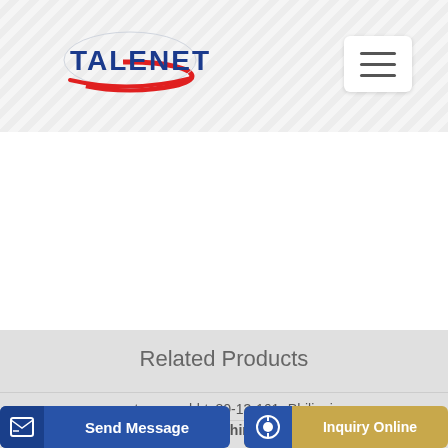[Figure (logo): TALENET company logo with red arc and blue text]
Related Products
concrete pump hbts80-13-161r Philippines
China Factory Concrete Batching Planthzs180 Shacman